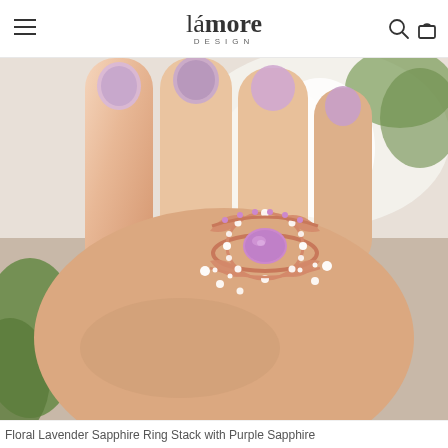lámore DESIGN
[Figure (photo): Close-up of a hand with lavender-painted nails wearing a stacked rose gold ring set featuring a central oval pink-purple lavender sapphire surrounded by a floral halo of white diamonds, with additional decorative bands featuring small diamonds and pink sapphires.]
Floral Lavender Sapphire Ring Stack with Purple Sapphire